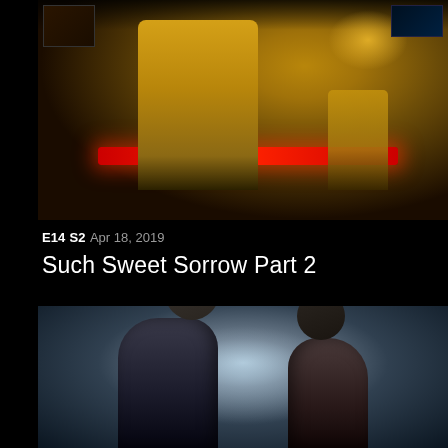[Figure (photo): Scene from Star Trek: Discovery showing a character in a gold Starfleet uniform leaning over a red illuminated console on the bridge, with another crew member in the background and colorful lighting]
E14  S2  Apr 18, 2019
Such Sweet Sorrow Part 2
[Figure (photo): Scene showing two characters facing each other in close proximity in a dimly lit corridor or room with blue-grey ambient lighting from behind]